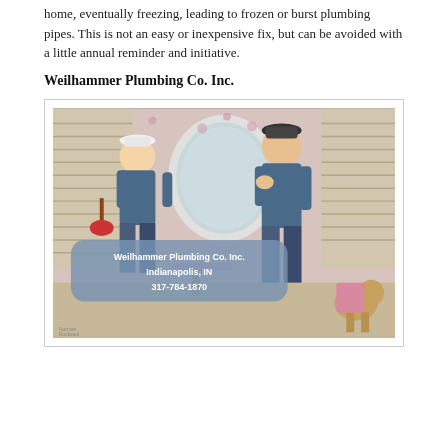home, eventually freezing, leading to frozen or burst plumbing pipes. This is not an easy or inexpensive fix, but can be avoided with a little annual reminder and initiative.
Weilhammer Plumbing Co. Inc.
[Figure (illustration): Norman Rockwell-style illustration of two plumbers working in a bathroom, with a blue rounded-rectangle overlay showing 'Weilhammer Plumbing Co. Inc. Indianapolis, IN 317-784-1870' and a watermark reading 'Norman Rockwell' in the bottom-left corner.]